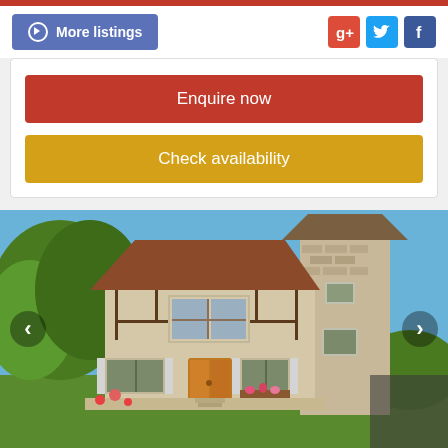More listings
Enquire now
Check availability
[Figure (photo): Exterior photo of a French country house with a stone tower, half-timbered facade, orange wooden door, white shuttered windows, and lush green trees under a blue sky. Navigation arrows on left and right sides.]